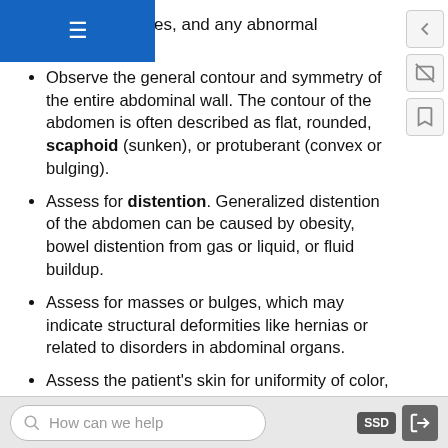s, skin abnormalities, and any abnormal movements.
Observe the general contour and symmetry of the entire abdominal wall. The contour of the abdomen is often described as flat, rounded, scaphoid (sunken), or protuberant (convex or bulging).
Assess for distention. Generalized distention of the abdomen can be caused by obesity, bowel distention from gas or liquid, or fluid buildup.
Assess for masses or bulges, which may indicate structural deformities like hernias or related to disorders in abdominal organs.
Assess the patient's skin for uniformity of color, integrity, scarring, or striae. Striae are white or silvery elongated marks that occur when the skin